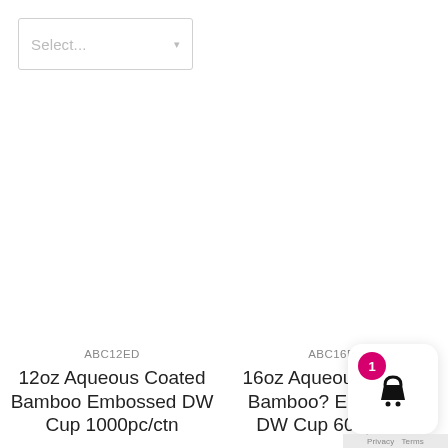[Figure (screenshot): A dropdown/select UI element with placeholder text 'Select...' and a downward arrow, styled with a light grey border.]
ABC12ED
12oz Aqueous Coated Bamboo Embossed DW Cup 1000pc/ctn
ABC16ED
16oz Aqueous Coated Bamboo? Embossed DW Cup 600p
[Figure (illustration): Shopping basket icon in a white rounded-corner card with a magenta badge showing the number 1, overlaid in the bottom-right corner of the page.]
Privacy Terms